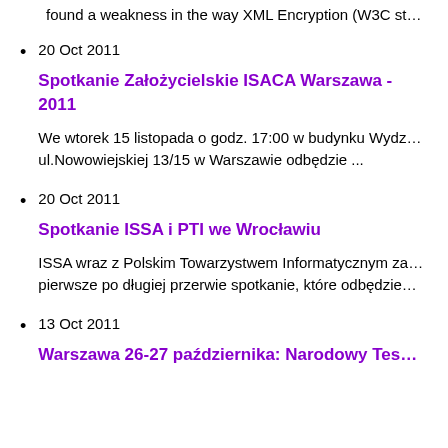found a weakness in the way XML Encryption (W3C st…
20 Oct 2011
Spotkanie Założycielskie ISACA Warszawa - 2011
We wtorek 15 listopada o godz. 17:00 w budynku Wydz… ul.Nowowiejskiej 13/15 w Warszawie odbędzie ...
20 Oct 2011
Spotkanie ISSA i PTI we Wrocławiu
ISSA wraz z Polskim Towarzystwem Informatycznym za… pierwsze po długiej przerwie spotkanie, które odbędzie…
13 Oct 2011
Warszawa 26-27 października: Narodowy Tes…